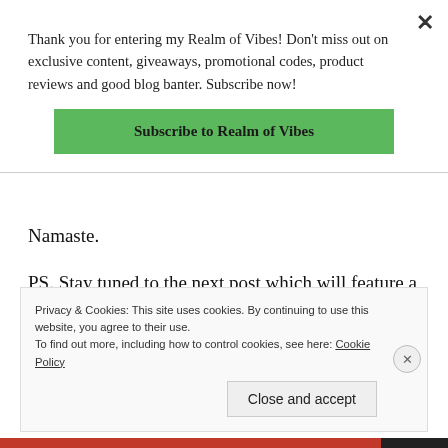Thank you for entering my Realm of Vibes! Don't miss out on exclusive content, giveaways, promotional codes, product reviews and good blog banter. Subscribe now!
Subscribe to Realm of Vibes
Namaste.
PS. Stay tuned to the next post which will feature a Cruelty Free at Home Spa Night – if you can't take a vacation, you can still feel like you are on vacation!
Privacy & Cookies: This site uses cookies. By continuing to use this website, you agree to their use.
To find out more, including how to control cookies, see here: Cookie Policy
Close and accept